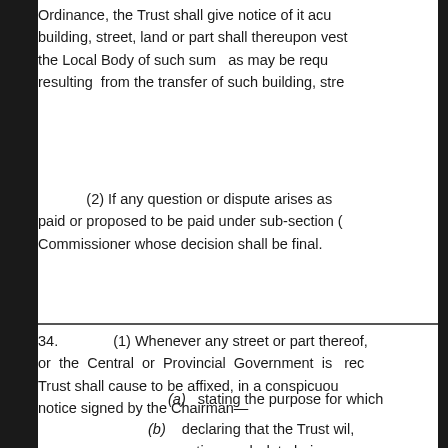Ordinance, the Trust shall give notice of it accu building, street, land or part shall thereupon vest the Local Body of such sum as may be requ resulting from the transfer of such building, stree
(2) If any question or dispute arises as paid or proposed to be paid under sub-section ( Commissioner whose decision shall be final.
34. (1) Whenever any street or part thereof, or the Central or Provincial Government is rec Trust shall cause to be affixed, in a conspicuous notice signed by the Chairman—
(a) stating the purpose for which
(b) declaring that the Trust wi, notice, such date being no the notice, take over charg